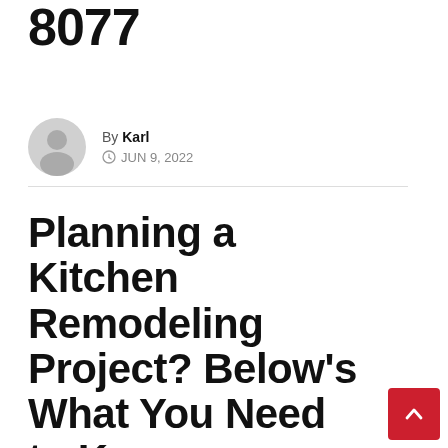Company 425 523 8077
By Karl  JUN 9, 2022
Planning a Kitchen Remodeling Project? Below's What You Need to Know